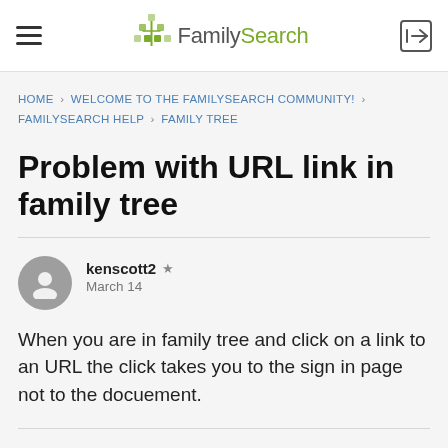FamilySearch
HOME › WELCOME TO THE FAMILYSEARCH COMMUNITY! › FAMILYSEARCH HELP › FAMILY TREE
Problem with URL link in family tree
kenscott2 ★ March 14
When you are in family tree and click on a link to an URL the click takes you to the sign in page not to the docuement.
Welcome!